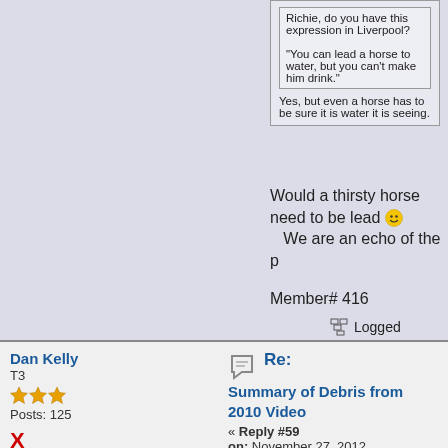Richie, do you have this expression in Liverpool?

"You can lead a horse to water, but you can't make him drink."

Yes, but even a horse has to be sure it is water it is seeing.
Would a thirsty horse need to be lead 🙂 We are an echo of the p
Member# 416
Logged
Dan Kelly
T3
Posts: 125
X
Re:
Summary of Debris from 2010 Video
« Reply #59
on: November 27, 2012,